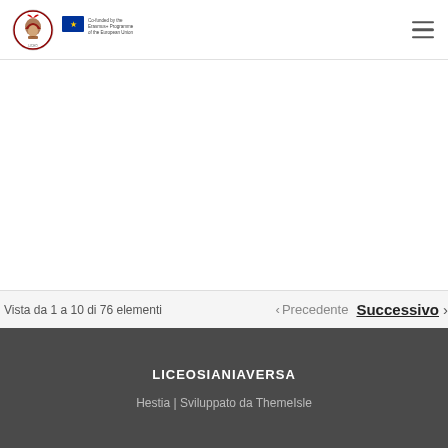Logo area with school emblem and EU co-funded Erasmus+ Programme badge; hamburger menu icon
francés
Vista da 1 a 10 di 76 elementi
Precedente  Successivo
LICEOSIANIAVERSA
Hestia | Sviluppato da ThemeIsle